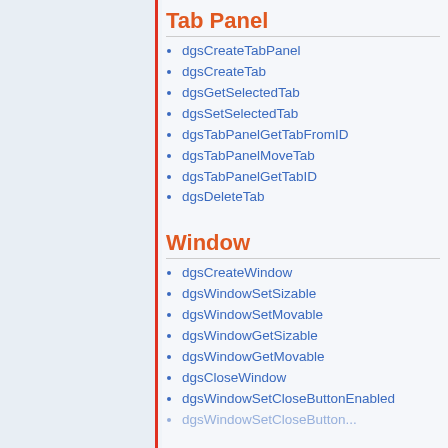Tab Panel
dgsCreateTabPanel
dgsCreateTab
dgsGetSelectedTab
dgsSetSelectedTab
dgsTabPanelGetTabFromID
dgsTabPanelMoveTab
dgsTabPanelGetTabID
dgsDeleteTab
Window
dgsCreateWindow
dgsWindowSetSizable
dgsWindowSetMovable
dgsWindowGetSizable
dgsWindowGetMovable
dgsCloseWindow
dgsWindowSetCloseButtonEnabled
dgsWindowSetCloseButtonEnabled